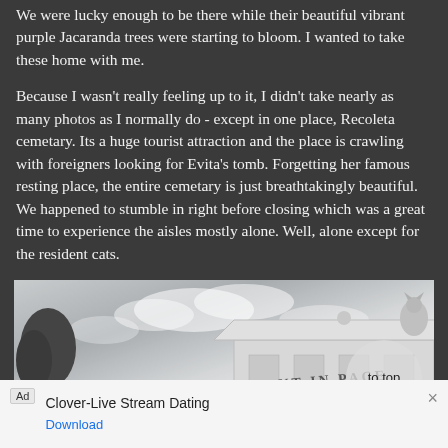We were lucky enough to be there while their beautiful vibrant purple Jacaranda trees were starting to bloom. I wanted to take these home with me.
Because I wasn't really feeling up to it, I didn't take nearly as many photos as I normally do - except in one place, Recoleta cemetary. Its a huge tourist attraction and the place is crawling with foreigners looking for Evita's tomb. Forgetting her famous resting place, the entire cemetary is just breathtakingly beautiful. We happened to stumble in right before closing which was a great time to experience the aisles mostly alone. Well, alone except for the resident cats.
[Figure (photo): Black and white photo of a cemetery building with a sign reading 'ANT IN PACE' (Requiescat in Pace), with a cloudy sky background and a 'to top' button overlay]
Ad  Clover-Live Stream Dating  Download  ×